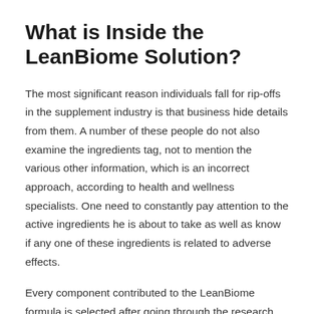What is Inside the LeanBiome Solution?
The most significant reason individuals fall for rip-offs in the supplement industry is that business hide details from them. A number of these people do not also examine the ingredients tag, not to mention the various other information, which is an incorrect approach, according to health and wellness specialists. One need to constantly pay attention to the active ingredients he is about to take as well as know if any one of these ingredients is related to adverse effects.
Every component contributed to the LeanBiome formula is selected after going through the research study information showing its benefits. Utilizing the original nutritional resource can likewise aid obtain the probiotics, but the supplement form has a much better potency than food; plus, it gives you multiple